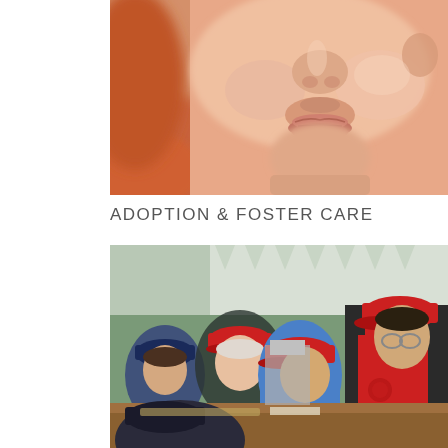[Figure (photo): Close-up photo of a young baby's face showing nose, cheeks, and lips, with soft focus on orange/peach clothing]
ADOPTION & FOSTER CARE
[Figure (photo): Photo of several volunteers wearing red caps and aprons working together at what appears to be a food service or community kitchen event]